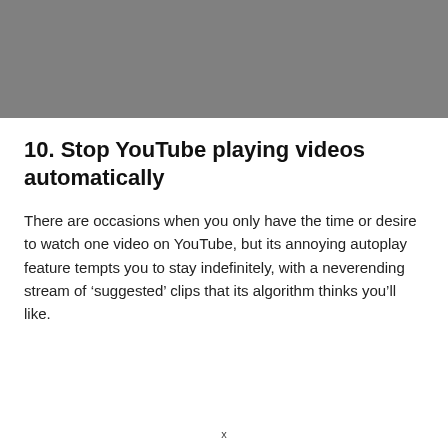[Figure (photo): Gray rectangular image placeholder at the top of the page]
10. Stop YouTube playing videos automatically
There are occasions when you only have the time or desire to watch one video on YouTube, but its annoying autoplay feature tempts you to stay indefinitely, with a neverending stream of ‘suggested’ clips that its algorithm thinks you’ll like.
x